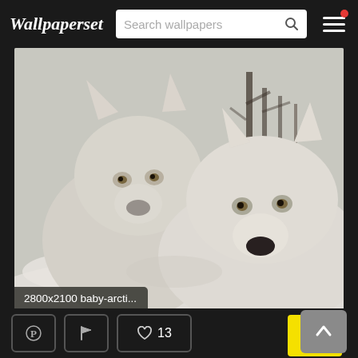Wallpaperset
Search wallpapers
[Figure (photo): Two white arctic wolves facing the camera in a snowy winter setting with bare trees in the background. The wolves have thick white fur and amber eyes.]
2800x2100 baby-arcti...
♡ 13